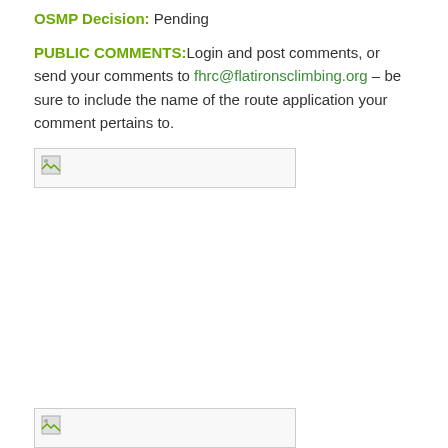OSMP Decision: Pending
PUBLIC COMMENTS: Login and post comments, or send your comments to fhrc@flatironsclimbing.org – be sure to include the name of the route application your comment pertains to.
[Figure (photo): Broken image placeholder (top)]
[Figure (photo): Broken image placeholder (bottom)]